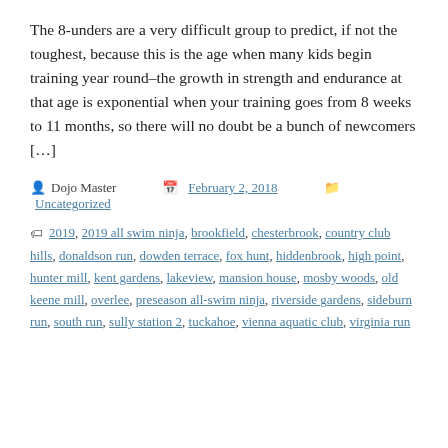The 8-unders are a very difficult group to predict, if not the toughest, because this is the age when many kids begin training year round–the growth in strength and endurance at that age is exponential when your training goes from 8 weeks to 11 months, so there will no doubt be a bunch of newcomers […]
Post author: Dojo Master  Date: February 2, 2018  Category: Uncategorized
Tags: 2019, 2019 all swim ninja, brookfield, chesterbrook, country club hills, donaldson run, dowden terrace, fox hunt, hiddenbrook, high point, hunter mill, kent gardens, lakeview, mansion house, mosby woods, old keene mill, overlee, preseason all-swim ninja, riverside gardens, sideburn run, south run, sully station 2, tuckahoe, vienna aquatic club, virginia run